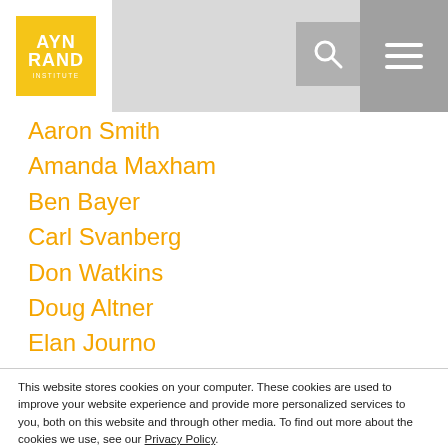Ayn Rand Institute
Aaron Smith
Amanda Maxham
Ben Bayer
Carl Svanberg
Don Watkins
Doug Altner
Elan Journo
This website stores cookies on your computer. These cookies are used to improve your website experience and provide more personalized services to you, both on this website and through other media. To find out more about the cookies we use, see our Privacy Policy.
We won't track your information when you visit our site. But in order to comply with your preferences, we'll have to use just one tiny cookie so that you're not asked to make this choice again.